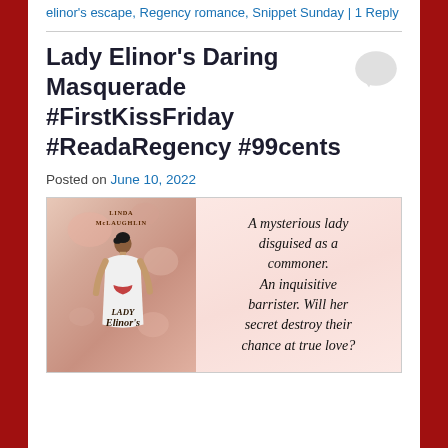elinor's escape, Regency romance, Snippet Sunday | 1 Reply
Lady Elinor's Daring Masquerade #FirstKissFriday #ReadaRegency #99cents
Posted on June 10, 2022
[Figure (illustration): Book promotional image for 'Lady Elinor's Daring Masquerade' by Linda McLaughlin. Left half shows the book cover with a woman in a white dress seen from behind, with author name and book title text. Right half shows the tagline text: 'A mysterious lady disguised as a commoner. An inquisitive barrister. Will her secret destroy their chance at true love?']